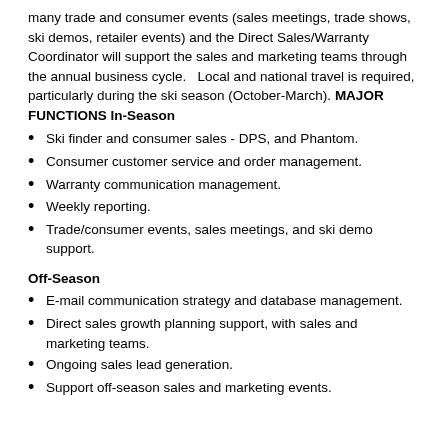many trade and consumer events (sales meetings, trade shows, ski demos, retailer events) and the Direct Sales/Warranty Coordinator will support the sales and marketing teams through the annual business cycle.   Local and national travel is required, particularly during the ski season (October-March). MAJOR FUNCTIONS In-Season
Ski finder and consumer sales - DPS, and Phantom.
Consumer customer service and order management.
Warranty communication management.
Weekly reporting.
Trade/consumer events, sales meetings, and ski demo support.
Off-Season
E-mail communication strategy and database management.
Direct sales growth planning support, with sales and marketing teams.
Ongoing sales lead generation.
Support off-season sales and marketing events.